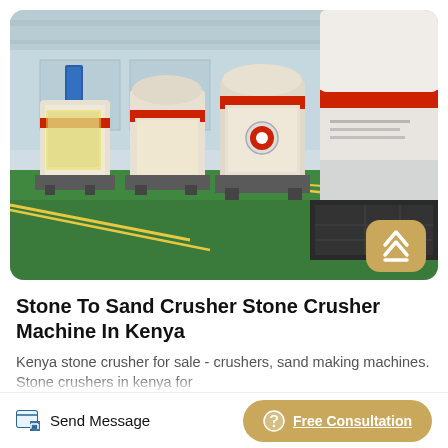[Figure (photo): Industrial factory interior with large white cone crusher machines with red rings/accents, lined up on a green-painted concrete floor. Yellow boundary lines on floor. Industrial building structure visible in background.]
Stone To Sand Crusher Stone Crusher Machine In Kenya
Kenya stone crusher for sale - crushers, sand making machines. Stone crushers in kenya for